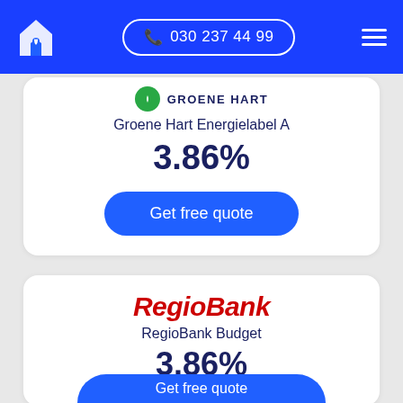030 237 44 99
[Figure (logo): Groene Hart logo with green circle and leaf icon, text GROENE HART]
Groene Hart Energielabel A
3.86%
Get free quote
[Figure (logo): RegioBank logo in red italic text]
RegioBank Budget
3.86%
Get free quote